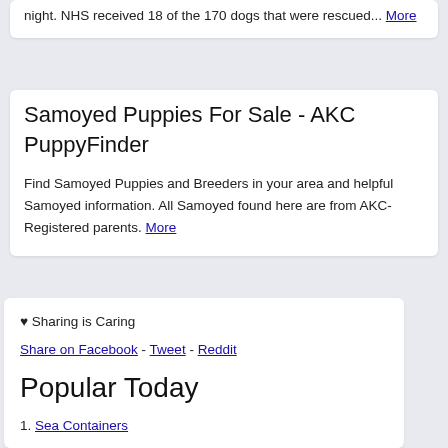night. NHS received 18 of the 170 dogs that were rescued... More
Samoyed Puppies For Sale - AKC PuppyFinder
Find Samoyed Puppies and Breeders in your area and helpful Samoyed information. All Samoyed found here are from AKC-Registered parents. More
♥ Sharing is Caring
Share on Facebook - Tweet - Reddit
Popular Today
1. Sea Containers